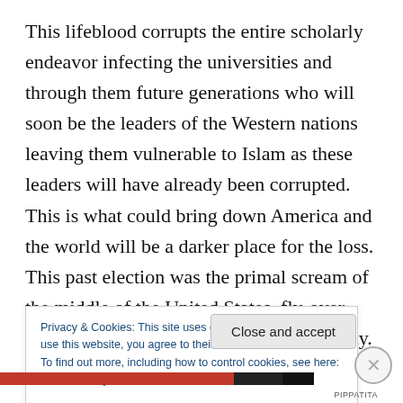This lifeblood corrupts the entire scholarly endeavor infecting the universities and through them future generations who will soon be the leaders of the Western nations leaving them vulnerable to Islam as these leaders will have already been corrupted. This is what could bring down America and the world will be a darker place for the loss. This past election was the primal scream of the middle of the United States, fly-over country, the moral and often silent majority. This was the expression of the last of those who fill the pews of the churches largely outside the
Privacy & Cookies: This site uses cookies. By continuing to use this website, you agree to their use.
To find out more, including how to control cookies, see here: Cookie Policy
Close and accept